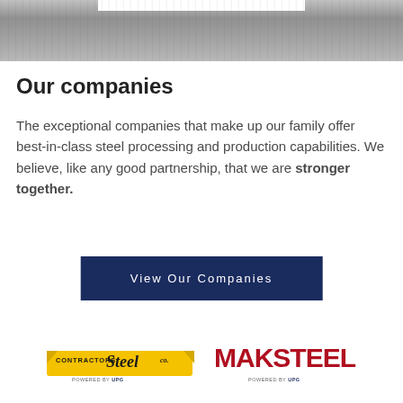[Figure (photo): Gray textured background header image with a white rectangular bar at the top center]
Our companies
The exceptional companies that make up our family offer best-in-class steel processing and production capabilities. We believe, like any good partnership, that we are stronger together.
View Our Companies
[Figure (logo): Contractors Steel Co. logo with yellow banner and 'POWERED BY UPG' text]
[Figure (logo): MAKSTEEL logo in red bold letters with 'POWERED BY UPG' text]